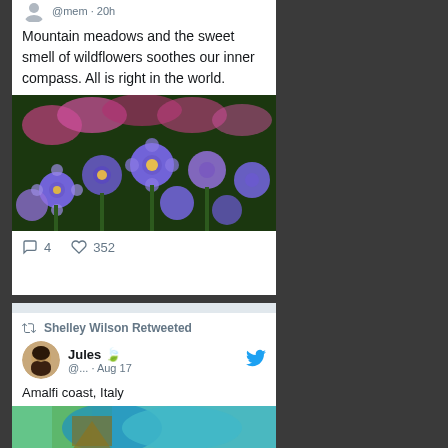Mountain meadows and the sweet smell of wildflowers soothes our inner compass. All is right in the world.
[Figure (photo): Purple and pink wildflowers in a mountain meadow, lush green background]
4   352
Shelley Wilson Retweeted
Jules 🍃 @... · Aug 17
Amalfi coast, Italy
[Figure (photo): Partial image of Amalfi coast, Italy — turquoise water and coastline visible]